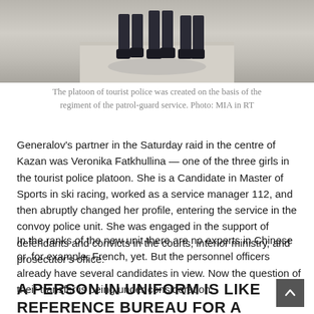[Figure (photo): Photograph of police officers' lower bodies/legs and feet on a light stone surface, cropped at the top of the page.]
The platoon of tourist police was created on the basis of the regiment of the patrol-guard service. Photo: MIA in RT
Generalov's partner in the Saturday raid in the centre of Kazan was Veronika Fatkhullina — one of the three girls in the tourist police platoon. She is a Candidate in Master of Sports in ski racing, worked as a service manager 112, and then abruptly changed her profile, entering the service in the convoy police unit. She was engaged in the support of defendants and convicts in the courts, interior ministry, and prosecutor's office.
In the ranks of the new unit there are no experts in Chinese or, for example, French, yet. But the personnel officers already have several candidates in view. Now the question of their transfer is being under consideration.
A PERSON IN UNIFORM IS LIKE REFERENCE BUREAU FOR A